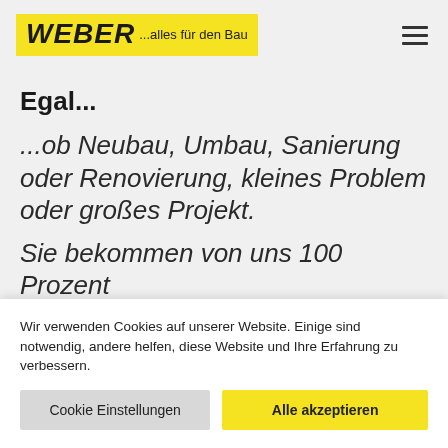[Figure (logo): Weber logo — black bold italic WEBER text on yellow background with tagline '...alles für den Bau']
Egal...
...ob Neubau, Umbau, Sanierung oder Renovierung, kleines Problem oder großes Projekt.
Sie bekommen von uns 100 Prozent
Wir verwenden Cookies auf unserer Website. Einige sind notwendig, andere helfen, diese Website und Ihre Erfahrung zu verbessern.
Cookie Einstellungen | Alle akzeptieren